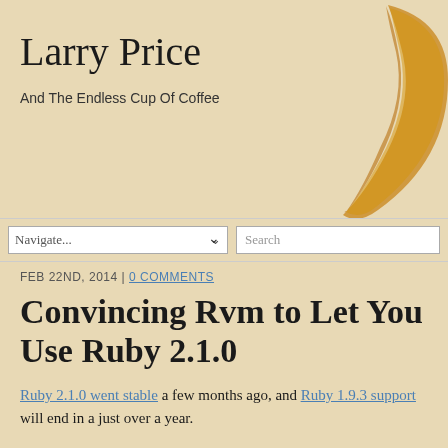[Figure (photo): Coffee ring stain on tan/beige background, positioned in upper right of header area]
Larry Price
And The Endless Cup Of Coffee
Navigate... [dropdown] | Search [search box]
FEB 22ND, 2014 | 0 COMMENTS
Convincing Rvm to Let You Use Ruby 2.1.0
Ruby 2.1.0 went stable a few months ago, and Ruby 1.9.3 support will end in a just over a year.
You know what that means: Warplanes in the sky falling to the ground, dogs and cats getting along like old pals, and people